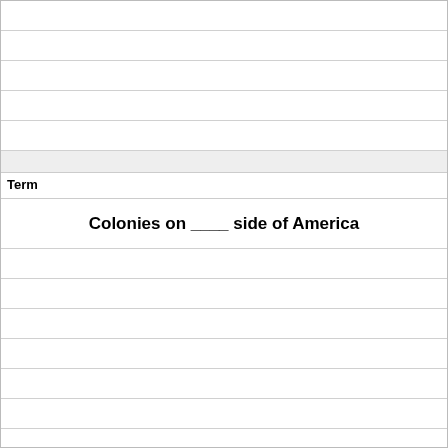Term
Colonies on ____ side of America
Definition
east